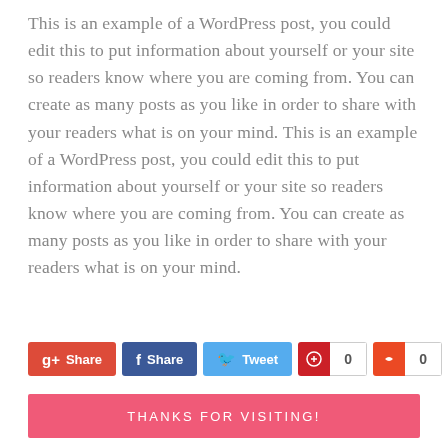This is an example of a WordPress post, you could edit this to put information about yourself or your site so readers know where you are coming from. You can create as many posts as you like in order to share with your readers what is on your mind. This is an example of a WordPress post, you could edit this to put information about yourself or your site so readers know where you are coming from. You can create as many posts as you like in order to share with your readers what is on your mind.
[Figure (other): Social sharing buttons: Google+ Share, Facebook Share, Twitter Tweet, Pinterest count showing 0, StumbleUpon count showing 0]
THANKS FOR VISITING!